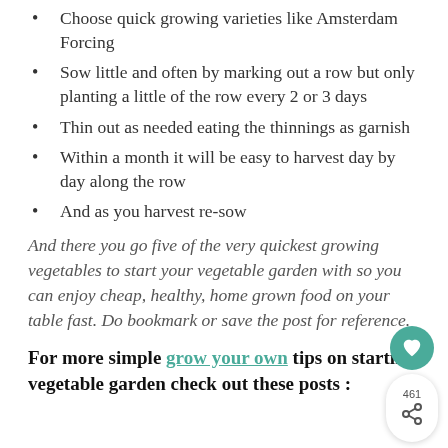Choose quick growing varieties like Amsterdam Forcing
Sow little and often by marking out a row but only planting a little of the row every 2 or 3 days
Thin out as needed eating the thinnings as garnish
Within a month it will be easy to harvest day by day along the row
And as you harvest re-sow
And there you go five of the very quickest growing vegetables to start your vegetable garden with so you can enjoy cheap, healthy, home grown food on your table fast. Do bookmark or save the post for reference.
For more simple grow your own tips on starting vegetable garden check out these posts :